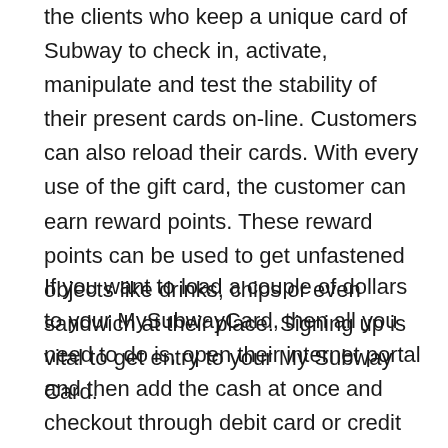the clients who keep a unique card of Subway to check in, activate, manipulate and test the stability of their present cards on-line. Customers can also reload their cards. With every use of the gift card, the customer can earn reward points. These reward points can be used to get unfastened objects like drinks, chips or even sandwich at their place. Signing up is vital to get entry to your My Subway Card.
If you want to load a couple of dollars to your MySubwayCard, then all you need to do is, open their internet portal and then add the cash at once and checkout through debit card or credit score card. In case if you don't have any playing cards then you locally go any Subway eating places and tell them to